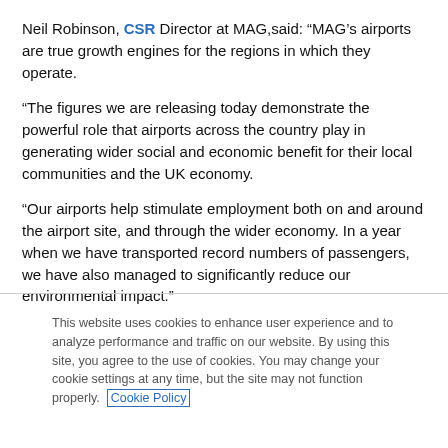Neil Robinson, CSR Director at MAG,said: “MAG’s airports are true growth engines for the regions in which they operate.
“The figures we are releasing today demonstrate the powerful role that airports across the country play in generating wider social and economic benefit for their local communities and the UK economy.
“Our airports help stimulate employment both on and around the airport site, and through the wider economy. In a year when we have transported record numbers of passengers, we have also managed to significantly reduce our environmental impact.”
This website uses cookies to enhance user experience and to analyze performance and traffic on our website. By using this site, you agree to the use of cookies. You may change your cookie settings at any time, but the site may not function properly. Cookie Policy